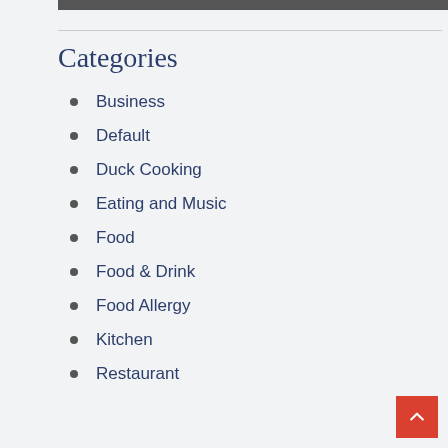Categories
Business
Default
Duck Cooking
Eating and Music
Food
Food & Drink
Food Allergy
Kitchen
Restaurant